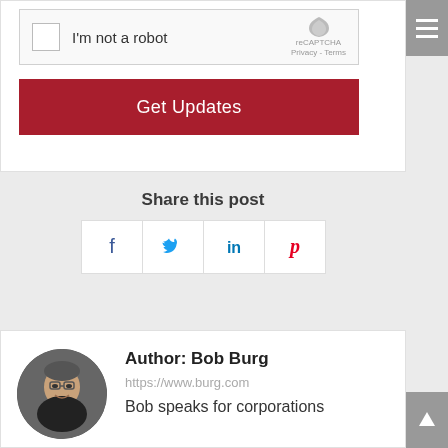[Figure (screenshot): reCAPTCHA widget with checkbox 'I'm not a robot' and reCAPTCHA logo with Privacy and Terms links]
[Figure (other): Hamburger menu button (three horizontal lines) on grey background in top right corner]
[Figure (other): Red 'Get Updates' button]
Share this post
[Figure (other): Social share buttons: Facebook (f), Twitter (bird), LinkedIn (in), Pinterest (P)]
[Figure (other): Scroll-to-top arrow button on grey background]
[Figure (photo): Circular author photo of Bob Burg, a man with glasses]
Author: Bob Burg
https://www.burg.com
Bob speaks for corporations